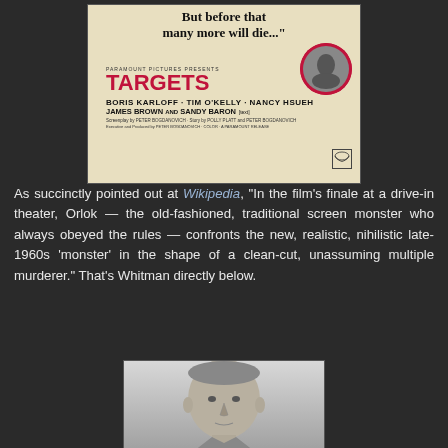[Figure (photo): Movie poster for 'Targets' (Paramount Pictures) featuring bold text 'But before that many more will die...' at top, the title TARGETS in large red letters, starring Boris Karloff, Tim O'Kelly, Nancy Hsueh, James Brown, Sandy Baron, directed by Peter Bogdanovich. A circular inset shows a face in black and white.]
As succinctly pointed out at Wikipedia, "In the film's finale at a drive-in theater, Orlok — the old-fashioned, traditional screen monster who always obeyed the rules — confronts the new, realistic, nihilistic late-1960s 'monster' in the shape of a clean-cut, unassuming multiple murderer." That's Whitman directly below.
[Figure (photo): Black and white headshot photograph of Charles Whitman, showing a young man with a very short buzz cut, clean-cut appearance, looking slightly upward.]